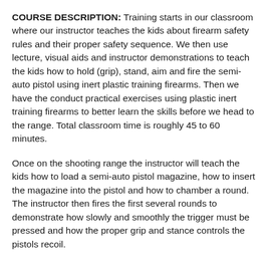COURSE DESCRIPTION: Training starts in our classroom where our instructor teaches the kids about firearm safety rules and their proper safety sequence. We then use lecture, visual aids and instructor demonstrations to teach the kids how to hold (grip), stand, aim and fire the semi-auto pistol using inert plastic training firearms. Then we have the conduct practical exercises using plastic inert training firearms to better learn the skills before we head to the range. Total classroom time is roughly 45 to 60 minutes.
Once on the shooting range the instructor will teach the kids how to load a semi-auto pistol magazine, how to insert the magazine into the pistol and how to chamber a round. The instructor then fires the first several rounds to demonstrate how slowly and smoothly the trigger must be pressed and how the proper grip and stance controls the pistols recoil.